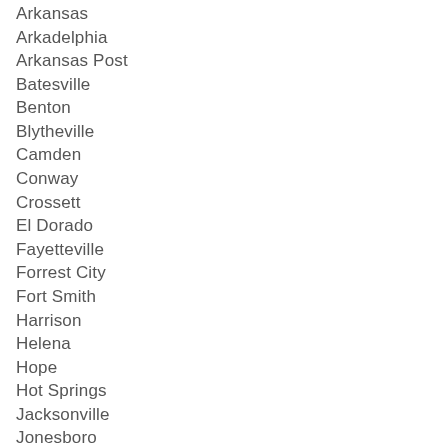Arkansas
Arkadelphia
Arkansas Post
Batesville
Benton
Blytheville
Camden
Conway
Crossett
El Dorado
Fayetteville
Forrest City
Fort Smith
Harrison
Helena
Hope
Hot Springs
Jacksonville
Jonesboro
Little Rock
Magnolia